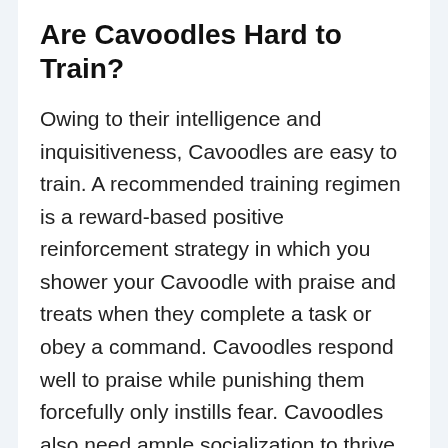Are Cavoodles Hard to Train?
Owing to their intelligence and inquisitiveness, Cavoodles are easy to train. A recommended training regimen is a reward-based positive reinforcement strategy in which you shower your Cavoodle with praise and treats when they complete a task or obey a command. Cavoodles respond well to praise while punishing them forcefully only instills fear. Cavoodles also need ample socialization to thrive with humans and other dogs.
What Colors Do Cavoodles Come